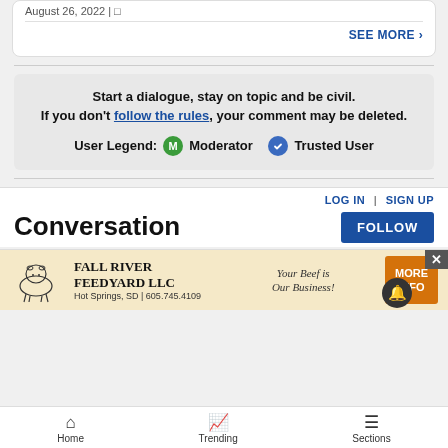August 26, 2022 |
SEE MORE »
Start a dialogue, stay on topic and be civil. If you don't follow the rules, your comment may be deleted.
User Legend: M Moderator  Trusted User
LOG IN | SIGN UP
Conversation
[Figure (infographic): Advertisement banner for Fall River Feedyard LLC with cow illustration, text 'Your Beef is Our Business!' and MORE INFO button]
Home  Trending  Sections